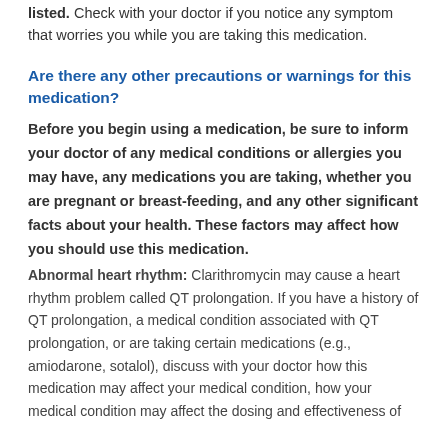Some people may experience side effects other than those listed. Check with your doctor if you notice any symptom that worries you while you are taking this medication.
Are there any other precautions or warnings for this medication?
Before you begin using a medication, be sure to inform your doctor of any medical conditions or allergies you may have, any medications you are taking, whether you are pregnant or breast-feeding, and any other significant facts about your health. These factors may affect how you should use this medication.
Abnormal heart rhythm: Clarithromycin may cause a heart rhythm problem called QT prolongation. If you have a history of QT prolongation, a medical condition associated with QT prolongation, or are taking certain medications (e.g., amiodarone, sotalol), discuss with your doctor how this medication may affect your medical condition, how your medical condition may affect the dosing and effectiveness of